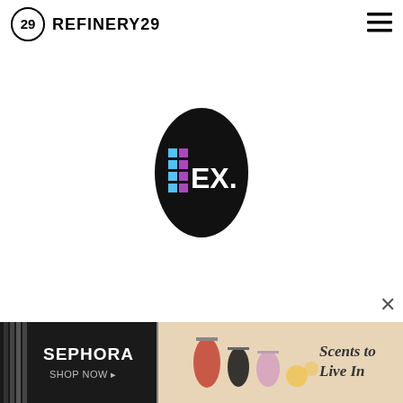REFINERY29
[Figure (logo): Refinery29 logo: circular badge with '29' inside and bold text 'REFINERY29' to the right, with hamburger menu icon on the right side]
[Figure (logo): Black oval loading spinner icon with colorful grid squares and 'EX.' text in white]
[Figure (photo): Sephora advertisement banner with perfume bottles and text 'Scents to Live In', 'SEPHORA SHOP NOW']